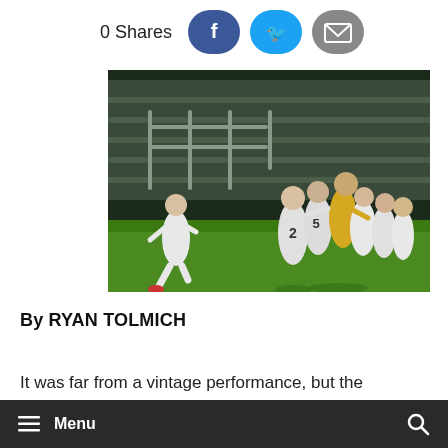0 Shares
[Figure (photo): Soccer players celebrating on a field at night, with bleachers in the background. Several players in white uniforms form a group hug/celebration cluster in the center-right, while a player in white runs toward them from the left.]
By RYAN TOLMICH
It was far from a vintage performance, but the
Menu